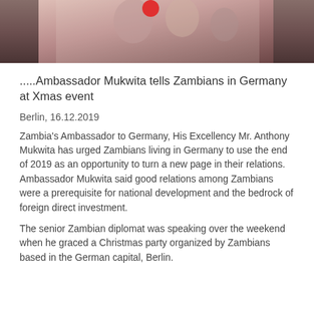[Figure (photo): Cropped photo showing people at a Christmas party event, with a red balloon or decoration visible at the top]
.....Ambassador Mukwita tells Zambians in Germany at Xmas event
Berlin, 16.12.2019
Zambia's Ambassador to Germany, His Excellency Mr. Anthony Mukwita has urged Zambians living in Germany to use the end of 2019 as an opportunity to turn a new page in their relations. Ambassador Mukwita said good relations among Zambians were a prerequisite for national development and the bedrock of foreign direct investment.
The senior Zambian diplomat was speaking over the weekend when he graced a Christmas party organized by Zambians based in the German capital, Berlin.